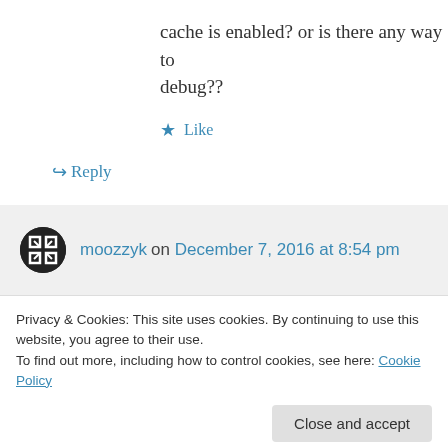cache is enabled? or is there any way to debug??
★ Like
↳ Reply
moozzyk on December 7, 2016 at 8:54 pm
In short this scenario is currently not really supported. For more details you can start from here:
Privacy & Cookies: This site uses cookies. By continuing to use this website, you agree to their use.
To find out more, including how to control cookies, see here: Cookie Policy
Close and accept
entire application and configuring EF